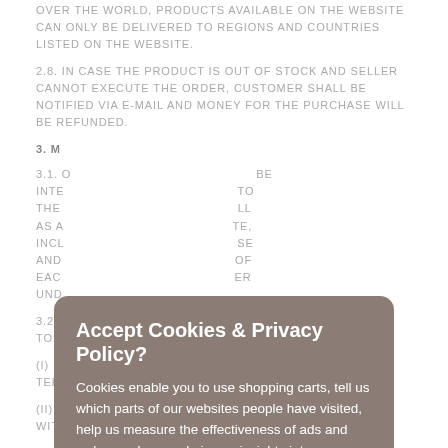OVER THE WORLD, PRODUCTS AVAILABLE ON THE WEBSITE CAN ONLY BE DELIVERED TO REGIONS AND COUNTRIES LISTED ON THE WEBSITE.
2.8. IN CASE THE PRODUCT IS OUT OF STOCK AND SELLER CANNOT EXECUTE THE ORDER, CUSTOMER SHALL BE NOTIFIED VIA E-MAIL AND MONEY FOR THE PURCHASE WILL BE REFUNDED.
3. M...
3.1. O... BE INTE... TO THE... LL AS A... TE, INCL... SE AND... OF EAC... ER UND...
3.2. ... ED TO:
(I) O... AL TER...
(II) READ AND UNDERSTAND THE NOTICE CONCERNING WITHDRAWAL RIGHTS AND...
[Figure (other): Cookie consent modal overlay with title 'Accept Cookies & Privacy Policy?', body text about cookies, 'More information' link, and two buttons: 'Accept Cookies' (red) and 'Customise Cookies' (white/outline).]